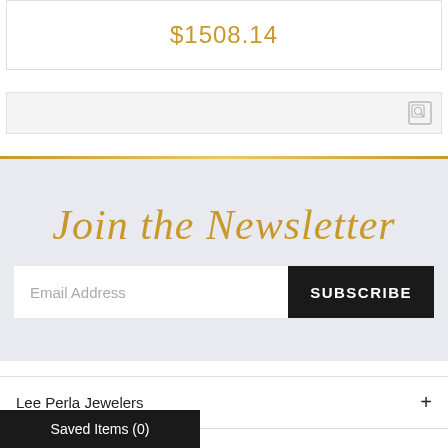$1508.14
[Figure (screenshot): Search bar with folder/search icon on the right]
Join the Newsletter
Email Address
SUBSCRIBE
Lee Perla Jewelers
Brands
Saved Items (0)